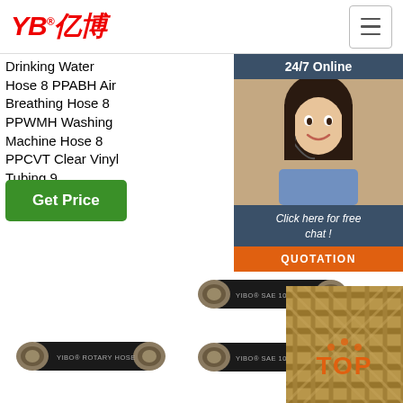[Figure (logo): YB亿博 company logo in red with registered trademark symbol]
[Figure (other): Hamburger menu icon (three horizontal lines) in a bordered box]
Drinking Water Hose 8 PPABH Air Breathing Hose 8 PPWMH Washing Machine Hose 8 PPCVT Clear Vinyl Tubing 9 ...
[Figure (other): 24/7 Online banner with customer service representative image, 'Click here for free chat!' text, and QUOTATION orange button]
[Figure (other): Get Price green button]
[Figure (photo): Black rubber hose labeled YIBO ROTARY HOSE]
[Figure (photo): Two black hydraulic hoses stacked, both labeled YIBO SAE 100 R13]
[Figure (photo): Braided hose texture with TOP text in orange]